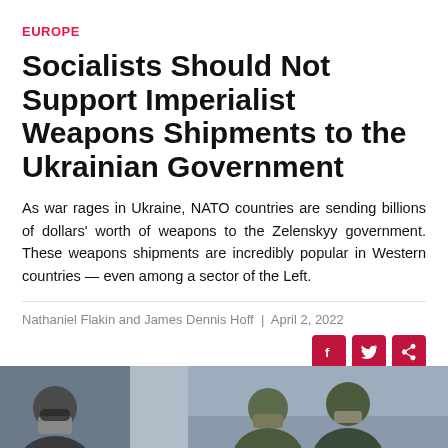EUROPE
Socialists Should Not Support Imperialist Weapons Shipments to the Ukrainian Government
As war rages in Ukraine, NATO countries are sending billions of dollars' worth of weapons to the Zelenskyy government. These weapons shipments are incredibly popular in Western countries — even among a sector of the Left.
Nathaniel Flakin and James Dennis Hoff  |  April 2, 2022
[Figure (photo): Two people in military gear, photo strip at bottom of article page]